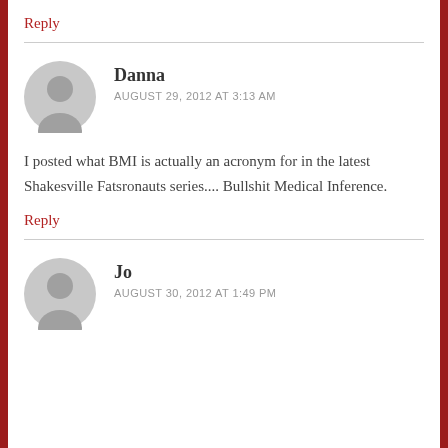Reply
Danna
AUGUST 29, 2012 AT 3:13 AM
I posted what BMI is actually an acronym for in the latest Shakesville Fatsronauts series.... Bullshit Medical Inference.
Reply
Jo
AUGUST 30, 2012 AT 1:49 PM